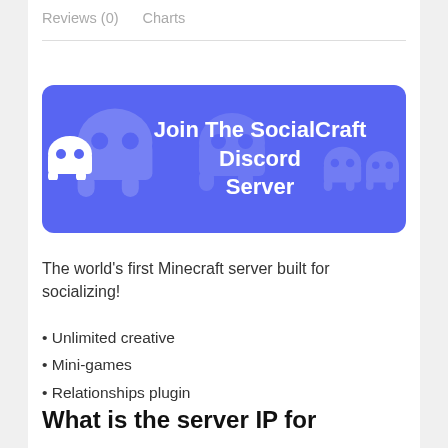Reviews (0)    Charts
[Figure (illustration): Discord server join banner with purple background, Discord logo icon on the left, and bold white text reading 'Join The SocialCraft Discord Server' on the right, with faint Discord logo watermarks in the background.]
The world's first Minecraft server built for socializing!
Unlimited creative
Mini-games
Relationships plugin
What is the server IP for